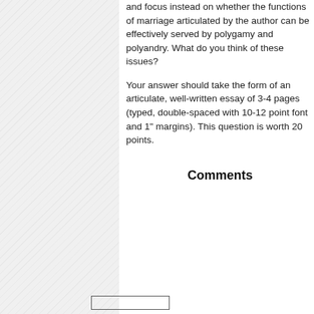and focus instead on whether the functions of marriage articulated by the author can be effectively served by polygamy and polyandry. What do you think of these issues?
Your answer should take the form of an articulate, well-written essay of 3-4 pages (typed, double-spaced with 10-12 point font and 1" margins). This question is worth 20 points.
Comments